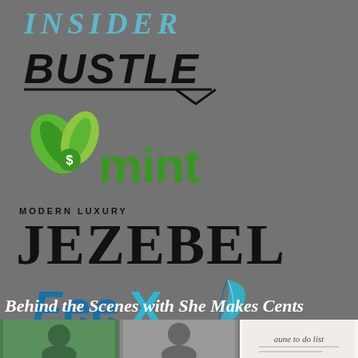[Figure (logo): Business Insider logo in teal/cyan capital letters: INSIDER]
[Figure (logo): Bustle logo in bold black italic font with a speech-bubble underline chevron]
[Figure (logo): Mint logo with green leaves and dollar sign, green text 'mint']
[Figure (logo): Modern Luxury JEZEBEL magazine logo in black serif font]
[Figure (logo): FeeX logo in blue with teal feather quill and tagline 'Robin Hood of Fees']
Behind the Scenes with She Makes Cents
[Figure (photo): Three small thumbnail images at the bottom of the page]